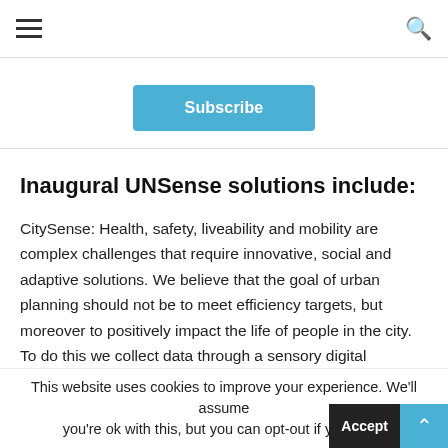≡   🔍
Subscribe
Inaugural UNSense solutions include:
CitySense: Health, safety, liveability and mobility are complex challenges that require innovative, social and adaptive solutions. We believe that the goal of urban planning should not be to meet efficiency targets, but moreover to positively impact the life of people in the city. To do this we collect data through a sensory digital infrastructure. Based on this data, we design and implement positive, personal
This website uses cookies to improve your experience. We'll assume you're ok with this, but you can opt-out if you wish.